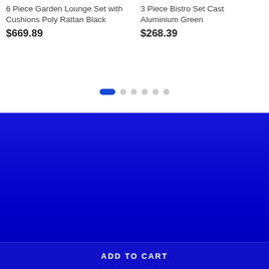6 Piece Garden Lounge Set with Cushions Poly Rattan Black
$669.89
3 Piece Bistro Set Cast Aluminium Green
$268.39
[Figure (other): Pagination dots: one active blue pill and five inactive grey dots]
[Figure (logo): Furniture King logo: FURNITURE in bold white text above KING in bold white text inside a white rectangle border, on a blue background]
Furniture King is Australia's premier discount furniture provider offering high-quality luxury beds, sofas, dining tables, outdoor and indoor sets, and much more at an affordable price.
ADD TO CART